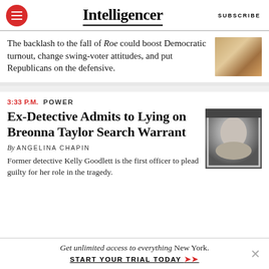Intelligencer  SUBSCRIBE
The backlash to the fall of Roe could boost Democratic turnout, change swing-voter attitudes, and put Republicans on the defensive.
3:33 P.M.  POWER
Ex-Detective Admits to Lying on Breonna Taylor Search Warrant
By ANGELINA CHAPIN
Former detective Kelly Goodlett is the first officer to plead guilty for her role in the tragedy.
[Figure (photo): Black and white photo of Breonna Taylor shown inside a picture frame]
Get unlimited access to everything New York.
START YOUR TRIAL TODAY ➤➤